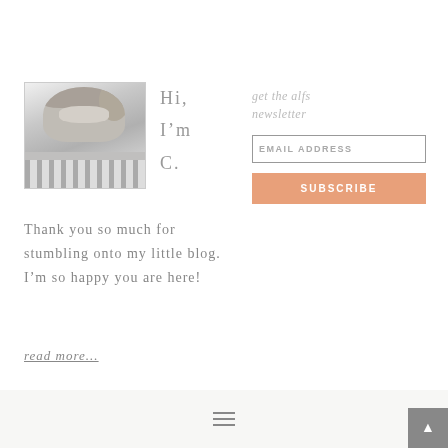[Figure (photo): Black and white photo of a woman with wavy hair wearing a striped shirt, framed with a thin border]
Hi,
I'm
C.
get the alfs newsletter
[Figure (other): EMAIL ADDRESS input field with border]
[Figure (other): SUBSCRIBE button in orange/peach color]
Thank you so much for stumbling onto my little blog. I'm so happy you are here!
read more...
hamburger menu icon and scroll-to-top button